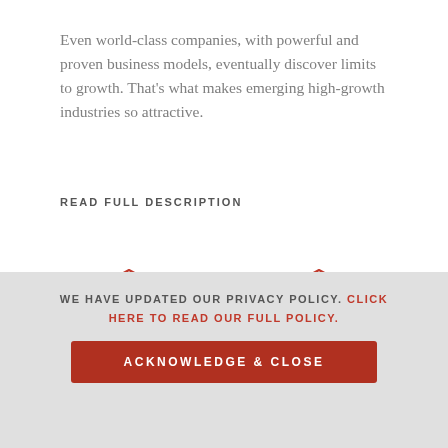Even world-class companies, with powerful and proven business models, eventually discover limits to growth. That's what makes emerging high-growth industries so attractive.
READ FULL DESCRIPTION
[Figure (illustration): Red book stack icon representing June 2009 Bestseller badge]
JUNE 2009 BESTSELLER
[Figure (illustration): Red book stack icon representing December 2008 Bestseller badge]
DECEMBER 2008 BESTSELLER
WE HAVE UPDATED OUR PRIVACY POLICY. CLICK HERE TO READ OUR FULL POLICY.
ACKNOWLEDGE & CLOSE